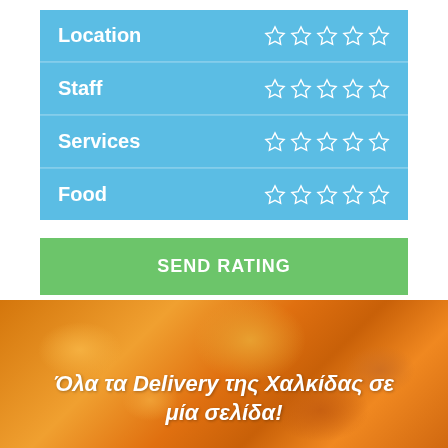Location ☆☆☆☆☆
Staff ☆☆☆☆☆
Services ☆☆☆☆☆
Food ☆☆☆☆☆
SEND RATING
[Figure (photo): Orange/golden fried food background image]
Όλα τα Delivery της Χαλκίδας σε μία σελίδα!